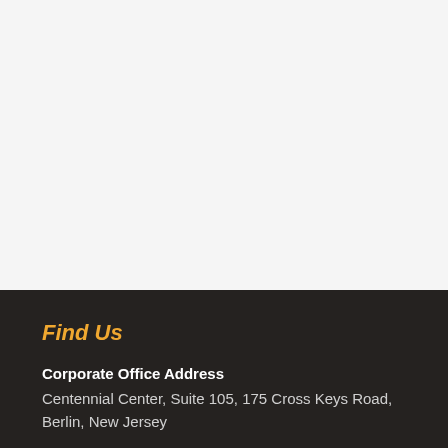Find Us
Corporate Office Address
Centennial Center, Suite 105, 175 Cross Keys Road, Berlin, New Jersey